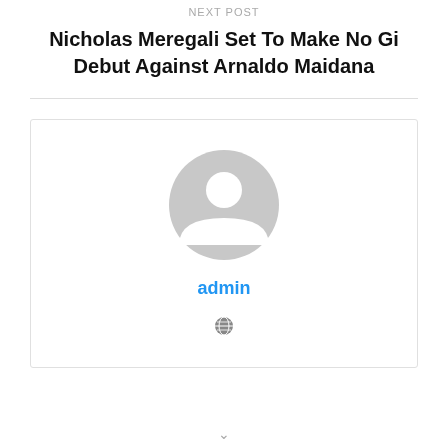Next Post
Nicholas Meregali Set To Make No Gi Debut Against Arnaldo Maidana
[Figure (illustration): Author profile card with generic user avatar icon, username 'admin' in blue, and a globe/website icon below.]